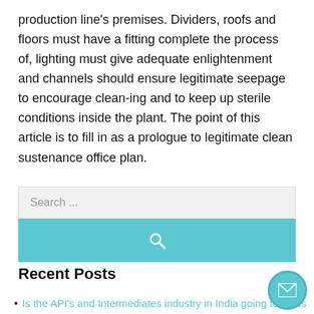production line's premises. Dividers, roofs and floors must have a fitting complete the process of, lighting must give adequate enlightenment and channels should ensure legitimate seepage to encourage clean-ing and to keep up sterile conditions inside the plant. The point of this article is to fill in as a prologue to legitimate clean sustenance office plan.
[Figure (other): Search box with a light gray input field showing 'Search ...' placeholder text, and a teal/cyan colored search button below with a white magnifying glass icon.]
Recent Posts
Is the API's and Intermediates industry in India going towards